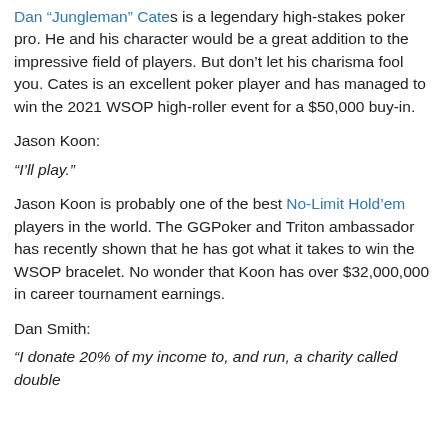Dan “Jungleman” Cates is a legendary high-stakes poker pro. He and his character would be a great addition to the impressive field of players. But don’t let his charisma fool you. Cates is an excellent poker player and has managed to win the 2021 WSOP high-roller event for a $50,000 buy-in.
Jason Koon:
“I’ll play.”
Jason Koon is probably one of the best No-Limit Hold’em players in the world. The GGPoker and Triton ambassador has recently shown that he has got what it takes to win the WSOP bracelet. No wonder that Koon has over $32,000,000 in career tournament earnings.
Dan Smith:
“I donate 20% of my income to, and run, a charity called double up and I think we’ve donated about $10 million. I’d love to see...